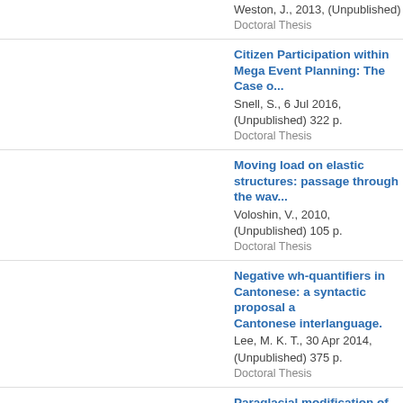Weston, J., 2013, (Unpublished)
Doctoral Thesis
Citizen Participation within Mega Event Planning: The Case...
Snell, S., 6 Jul 2016, (Unpublished) 322 p.
Doctoral Thesis
Moving load on elastic structures: passage through the wav...
Voloshin, V., 2010, (Unpublished) 105 p.
Doctoral Thesis
Negative wh-quantifiers in Cantonese: a syntactic proposal a... Cantonese interlanguage.
Lee, M. K. T., 30 Apr 2014, (Unpublished) 375 p.
Doctoral Thesis
Paraglacial modification of drift-mantled hillslopes
Curry, A., Dec 1998, (Unpublished) 370 p.
Doctoral Thesis
Scattering Ice Clouds
Smith, H., Nov 2015, (Unpublished)
Doctoral Thesis
Social recovery following first episode psychosis: The role o...
Maidment, M., 1 Sep 2014, (Unpublished)
Doctoral Thesis
The perceptions of employees of diversity management: A c...
Georgiadou, A., 2014, (Unpublished)
Doctoral Thesis
Yatırımları Özendirme Önlemlerindeki Gelişmeler ve Bu Gelis... Developments for the Investment Incentives and The Effects... Decisions